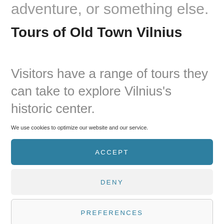adventure, or something else.
Tours of Old Town Vilnius
Visitors have a range of tours they can take to explore Vilnius's historic center.
We use cookies to optimize our website and our service.
ACCEPT
DENY
PREFERENCES
Cookie Policy   Privacy Policy